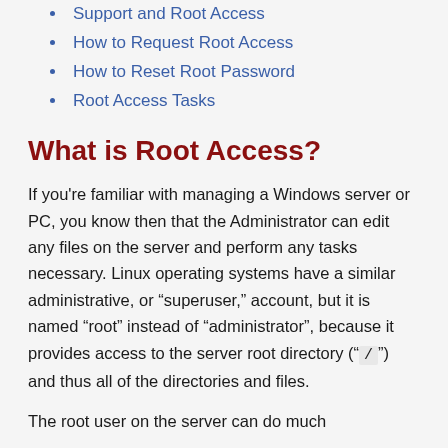Support and Root Access
How to Request Root Access
How to Reset Root Password
Root Access Tasks
What is Root Access?
If you're familiar with managing a Windows server or PC, you know then that the Administrator can edit any files on the server and perform any tasks necessary. Linux operating systems have a similar administrative, or “superuser,” account, but it is named “root” instead of “administrator”, because it provides access to the server root directory (“ / ”) and thus all of the directories and files.
The root user on the server can do much